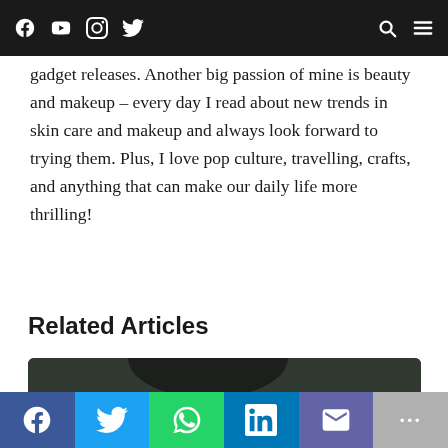Social media navigation bar with icons: Facebook, YouTube, Instagram, Twitter (left); Search, Menu (right)
gadget releases. Another big passion of mine is beauty and makeup – every day I read about new trends in skin care and makeup and always look forward to trying them. Plus, I love pop culture, travelling, crafts, and anything that can make our daily life more thrilling!
Related Articles
[Figure (photo): Dark photo with tags: MAKEUP and SELF-CARE & BEAUTY]
Social share bar: Facebook, Twitter, WhatsApp, LinkedIn, Email, More